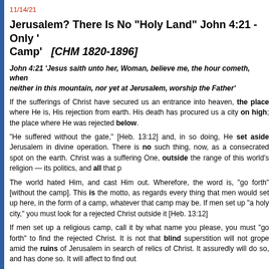11/14/21
Jerusalem? There Is No "Holy Land" John 4:21 - Only 'Camp'   [CHM 1820-1896]
John 4:21 'Jesus saith unto her, Woman, believe me, the hour cometh, when neither in this mountain, nor yet at Jerusalem, worship the Father'
If the sufferings of Christ have secured us an entrance into heaven, the place where He is, His rejection from earth. His death has procured us a city on high; the place where He was rejected below.
"He suffered without the gate," [Heb. 13:12] and, in so doing, He set aside Jerusalem in divine operation. There is no such thing, now, as a consecrated spot on the earth. Christ was a suffering One, outside the range of this world's religion — its politics, and all that p
The world hated Him, and cast Him out. Wherefore, the word is, "go forth" [without the camp]. This is the motto, as regards every thing that men would set up here, in the form of a camp, whatever that camp may be. If men set up "a holy city," you must look for a rejected Christ outside it [Heb. 13:12]
If men set up a religious camp, call it by what name you please, you must "go forth" to find the rejected Christ. It is not that blind superstition will not grope amid the ruins of Jerusalem in search of relics of Christ. It assuredly will do so, and has done so. It will affect to find out